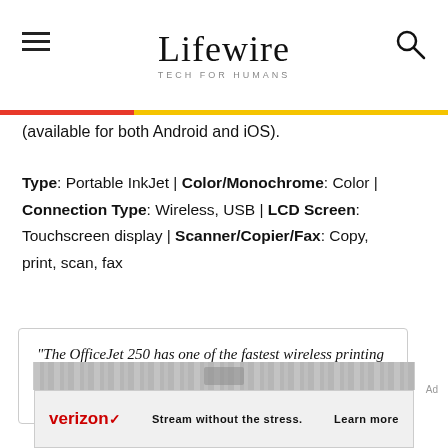Lifewire — TECH FOR HUMANS
(available for both Android and iOS).
Type: Portable InkJet | Color/Monochrome: Color | Connection Type: Wireless, USB | LCD Screen: Touchscreen display | Scanner/Copier/Fax: Copy, print, scan, fax
"The OfficeJet 250 has one of the fastest wireless printing speeds we've seen, even when running on the battery." — Eric Watson, Product
[Figure (other): Verizon advertisement banner: Stream without the stress. Learn more]